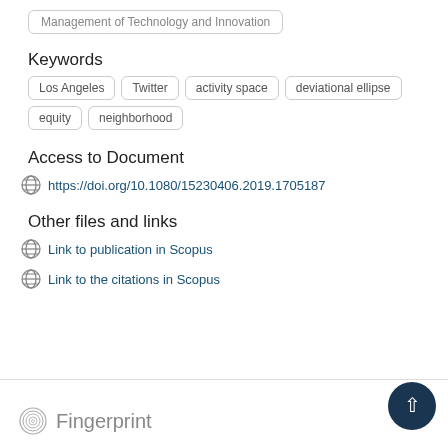Management of Technology and Innovation
Keywords
Los Angeles
Twitter
activity space
deviational ellipse
equity
neighborhood
Access to Document
https://doi.org/10.1080/15230406.2019.1705187
Other files and links
Link to publication in Scopus
Link to the citations in Scopus
Fingerprint